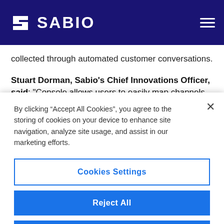SABIO
collected through automated customer conversations.
Stuart Dorman, Sabio's Chief Innovations Officer, said: “Console allows users to easily map channels to
By clicking “Accept All Cookies”, you agree to the storing of cookies on your device to enhance site navigation, analyze site usage, and assist in our marketing efforts.
Cookies Settings
Reject All
Accept All Cookies